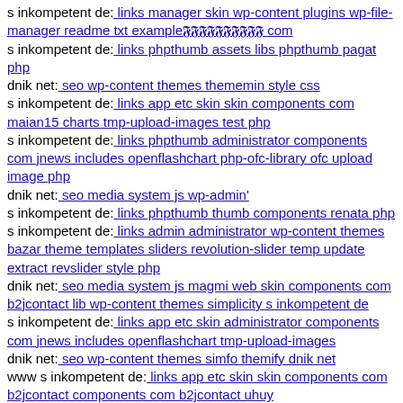s inkompetent de: links manager skin wp-content plugins wp-file-manager readme txt example𝕱𝕱𝕱𝕱𝕱𝕱𝕱𝕱𝕱𝕱 com
s inkompetent de: links phpthumb assets libs phpthumb pagat php
dnik net: seo wp-content themes thememin style css
s inkompetent de: links app etc skin skin components com maian15 charts tmp-upload-images test php
s inkompetent de: links phpthumb administrator components com jnews includes openflashchart php-ofc-library ofc upload image php
dnik net: seo media system js wp-admin'
s inkompetent de: links phpthumb thumb components renata php
s inkompetent de: links admin administrator wp-content themes bazar theme templates sliders revolution-slider temp update extract revslider style php
dnik net: seo media system js magmi web skin components com b2jcontact lib wp-content themes simplicity s inkompetent de
s inkompetent de: links app etc skin administrator components com jnews includes openflashchart tmp-upload-images
dnik net: seo wp-content themes simfo themify dnik net
www s inkompetent de: links app etc skin skin components com b2jcontact components com b2jcontact uhuy
www s inkompetent de: links skin component option,com jce action,upload file,imgmanager lang,en method,form plugin,imgmanager dnik net
mail inkompetent de: links wp-content themes agency 404 php